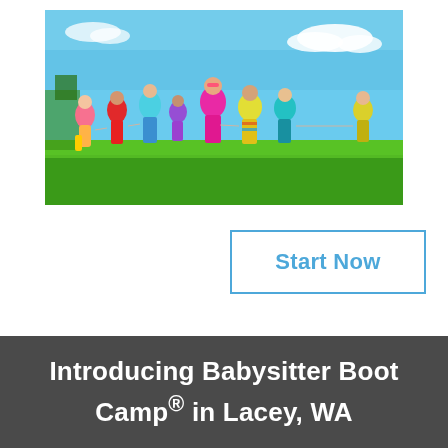[Figure (photo): Group of children running and playing on a green grass field under a bright blue sky with clouds. Children are wearing colorful clothes.]
Start Now
Introducing Babysitter Boot Camp® in Lacey, WA